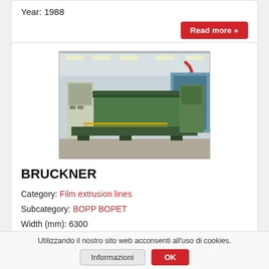Year: 1988
Read more »
[Figure (photo): Large green industrial film extrusion machine (BRUCKNER BOPP BOPET line) inside a factory/warehouse, viewed from the side, with overhead crane hook visible.]
BRUCKNER
Category: Film extrusion lines
Subcategory: BOPP BOPET
Width (mm): 6300
Year: 1996
Read more »
Utilizzando il nostro sito web acconsenti all'uso di cookies.
Informazioni
OK